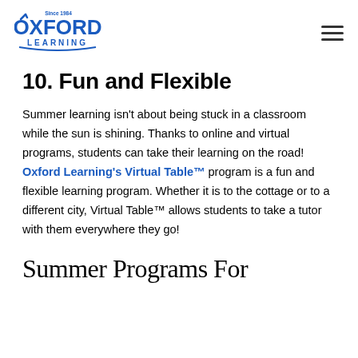Oxford Learning — navigation header with logo and menu
10. Fun and Flexible
Summer learning isn't about being stuck in a classroom while the sun is shining. Thanks to online and virtual programs, students can take their learning on the road! Oxford Learning's Virtual Table™ program is a fun and flexible learning program. Whether it is to the cottage or to a different city, Virtual Table™ allows students to take a tutor with them everywhere they go!
Summer Programs For